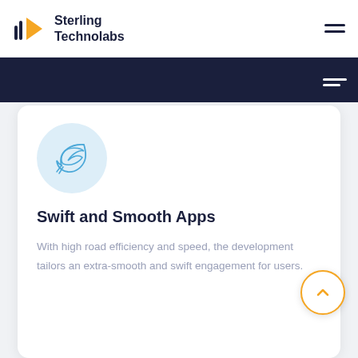Sterling Technolabs
[Figure (illustration): Swift bird logo icon in light blue circle]
Swift and Smooth Apps
With high road efficiency and speed, the development tailors an extra-smooth and swift engagement for users.
[Figure (illustration): Purple analytics/graph icon in light purple circle, partially visible at bottom]